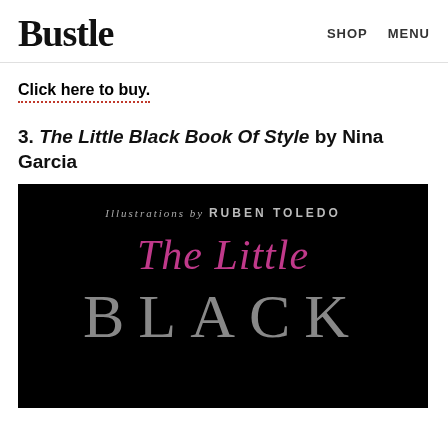Bustle | SHOP  MENU
Click here to buy.
3. The Little Black Book Of Style by Nina Garcia
[Figure (photo): Book cover of The Little Black Book Of Style on black background, with text 'Illustrations by RUBEN TOLEDO', 'The Little' in pink script, and 'BLACK' in large grey serif letters]